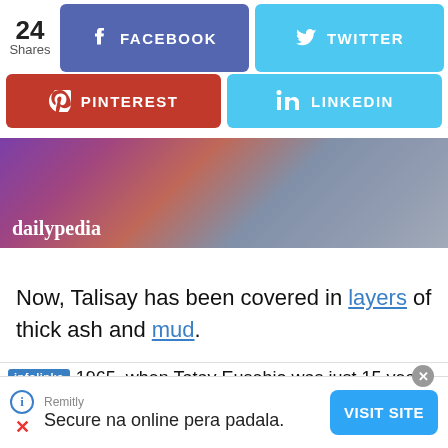[Figure (screenshot): Social sharing buttons: 24 Shares, Facebook (blue-purple), Twitter (light blue), Pinterest (red), LinkedIn (light blue)]
[Figure (photo): Dailypedia banner image with purple/pink gradient and mountain scenery in background]
Now, Talisay has been covered in layers of thick ash and mud.
1965, when Tatay Eusebio was just 15 years
[Figure (screenshot): Remitly advertisement: 'Secure na online pera padala.' with VISIT SITE button]